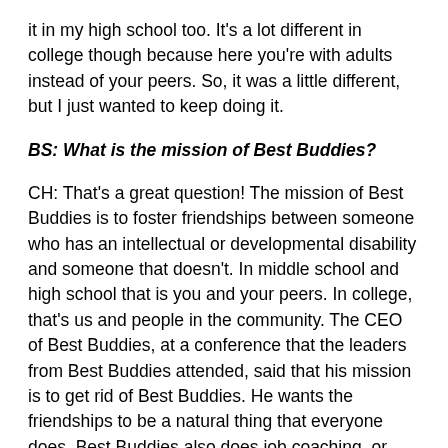it in my high school too. It's a lot different in college though because here you're with adults instead of your peers. So, it was a little different, but I just wanted to keep doing it.
BS: What is the mission of Best Buddies?
CH: That's a great question! The mission of Best Buddies is to foster friendships between someone who has an intellectual or developmental disability and someone that doesn't. In middle school and high school that is you and your peers. In college, that's us and people in the community. The CEO of Best Buddies, at a conference that the leaders from Best Buddies attended, said that his mission is to get rid of Best Buddies. He wants the friendships to be a natural thing that everyone does. Best Buddies also does job coaching, or they help find jobs for people with